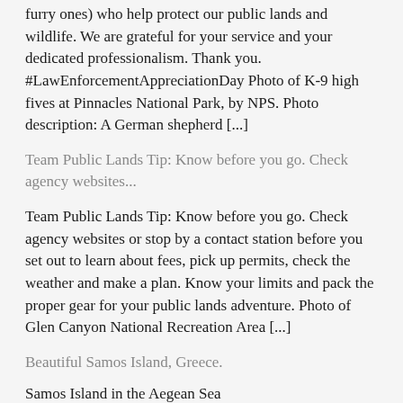furry ones) who help protect our public lands and wildlife. We are grateful for your service and your dedicated professionalism. Thank you. #LawEnforcementAppreciationDay Photo of K-9 high fives at Pinnacles National Park, by NPS. Photo description: A German shepherd [...]
Team Public Lands Tip: Know before you go. Check agency websites...
Team Public Lands Tip: Know before you go. Check agency websites or stop by a contact station before you set out to learn about fees, pick up permits, check the weather and make a plan. Know your limits and pack the proper gear for your public lands adventure. Photo of Glen Canyon National Recreation Area [...]
Beautiful Samos Island, Greece.
Samos Island in the Aegean Sea
Jimmy Carter says the middle class is worse off now than 30 years ago. Do you agree with him?